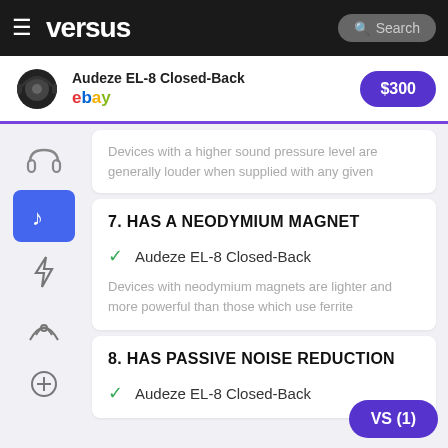versus — Search
[Figure (screenshot): Ad banner: Audeze EL-8 Closed-Back headphones, eBay, $300]
Devices with a higher sound pressure level are generally louder when supplied with any given
7. HAS A NEODYMIUM MAGNET
Audeze EL-8 Closed-Back
Devices with neodymium magnets are lighter and more powerful than those which use ferrite
8. HAS PASSIVE NOISE REDUCTION
Audeze EL-8 Closed-Back